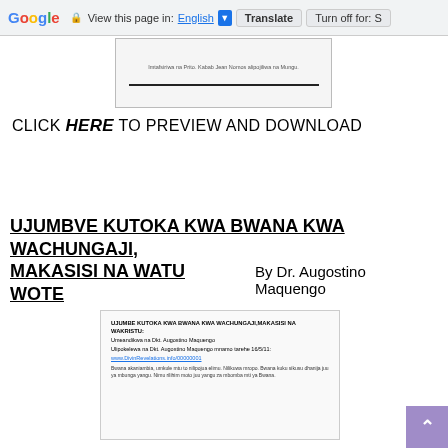Google  View this page in: English  Translate  Turn off for: S
[Figure (screenshot): Small book page preview thumbnail at top of page]
CLICK HERE TO PREVIEW AND DOWNLOAD
UJUMBVE KUTOKA KWA BWANA KWA WACHUNGAJI, MAKASISI NA WATU WOTE   By Dr. Augostino Maquengo
[Figure (screenshot): Small preview of book interior page showing title UJUMBE KUTOKA KWA BWANA KWA WACHUNGAJI MAKASISI NA WAKRISTU with author and body text in Swahili]